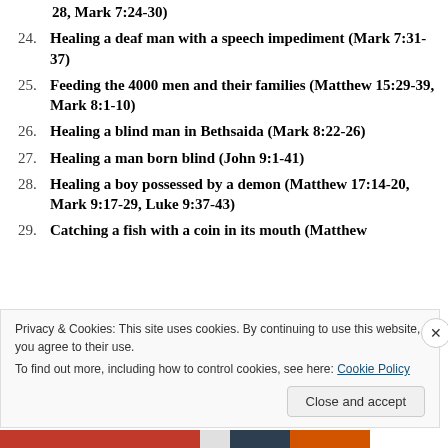28, Mark 7:24-30)
24. Healing a deaf man with a speech impediment (Mark 7:31-37)
25. Feeding the 4000 men and their families (Matthew 15:29-39, Mark 8:1-10)
26. Healing a blind man in Bethsaida (Mark 8:22-26)
27. Healing a man born blind (John 9:1-41)
28. Healing a boy possessed by a demon (Matthew 17:14-20, Mark 9:17-29, Luke 9:37-43)
29. Catching a fish with a coin in its mouth (Matthew 17:24-27)